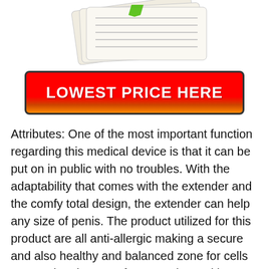[Figure (photo): Photo of rolled/stacked newspapers or documents with a green element visible on top]
[Figure (infographic): Red and orange gradient button with bold white text reading LOWEST PRICE HERE, black border with rounded corners]
Attributes: One of the most important function regarding this medical device is that it can be put on in public with no troubles. With the adaptability that comes with the extender and the comfy total design, the extender can help any size of penis. The product utilized for this product are all anti-allergic making a secure and also healthy and balanced zone for cells to grow in. The manufactures along with making sure that the tool gives guaranteed outcomes have additionally made certain that the overall